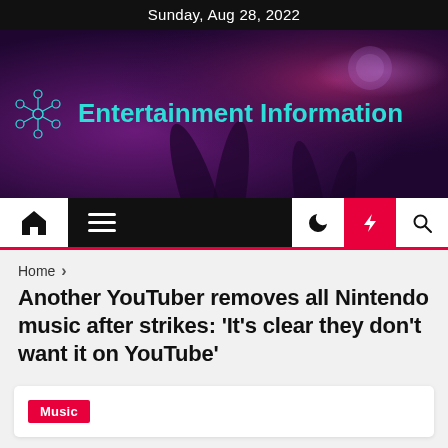Sunday, Aug 28, 2022
[Figure (illustration): Entertainment Information website hero banner with purple/magenta gradient background showing silhouetted hands raised, with a snowflake/molecule icon and teal text reading 'Entertainment Information']
[Figure (screenshot): Navigation bar with home icon, hamburger menu, moon icon, red lightning bolt button, and search icon]
Home > Another YouTuber removes all Nintendo music after strikes: ‘It’s clear they don’t want it on YouTube’
Another YouTuber removes all Nintendo music after strikes: ‘It’s clear they don’t want it on YouTube’
Music